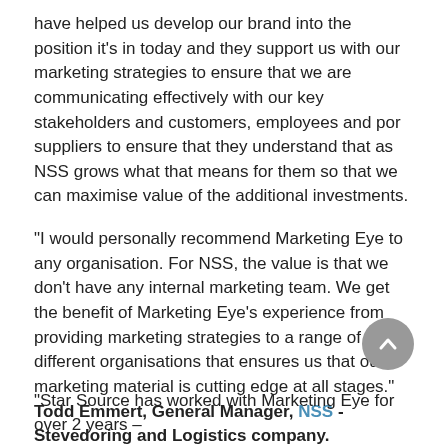have helped us develop our brand into the position it's in today and they support us with our marketing strategies to ensure that we are communicating effectively with our key stakeholders and customers, employees and por suppliers to ensure that they understand that as NSS grows what that means for them so that we can maximise value of the additional investments.
"I would personally recommend Marketing Eye to any organisation. For NSS, the value is that we don't have any internal marketing team. We get the benefit of Marketing Eye's experience from providing marketing strategies to a range of different organisations that ensures us that our marketing material is cutting edge at all stages."
Todd Emmert, General Manager, NSS - Stevedoring and Logistics company.
"Star Source has worked with Marketing Eye for over 2 years –